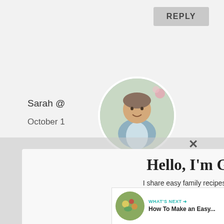[Figure (screenshot): Website screenshot showing a popup modal overlay on a food blog. The page has a REPLY button top right, background text showing 'Sarah @ ...hen on October 1...', a circular profile photo of a chef/man in apron, a modal with 'Hello, I'm Gerry!' headline, descriptive text, email input field, and SEND ME UPDATES button. Right sidebar shows heart icon with 812 count and share icon. Bottom right shows 'WHAT'S NEXT' panel with food thumbnail and 'How To Make an Easy...' text.]